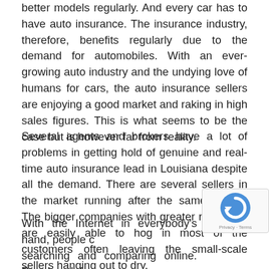better models regularly. And every car has to have auto insurance. The insurance industry, therefore, benefits regularly due to the demand for automobiles. With an ever-growing auto industry and the undying love of humans for cars, the auto insurance sellers are enjoying a good market and raking in high sales figures. This is what seems to be the case but is however far from reality.
Several agents and brokers have a lot of problems in getting hold of genuine and real-time auto insurance lead in Louisiana despite all the demand. There are several sellers in the market running after the same clients. The bigger companies with greater resources are easily able to hog in most of the customers often leaving the small-scale sellers hanging out to dry.
With the Internet in everybody's hand, people choose searching and comparing online. People ask for insurance quotes from several companies and choose